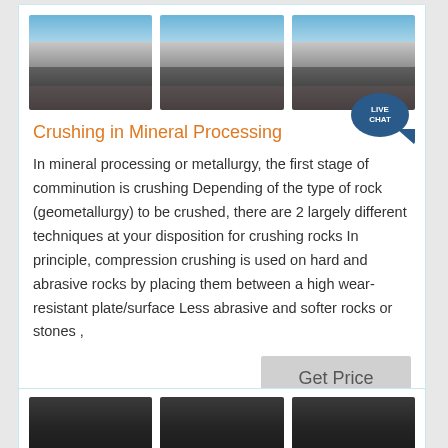[Figure (photo): Three photos of industrial mineral crushing/processing facility with blue sky and industrial structures]
Crushing in Mineral Processing
In mineral processing or metallurgy, the first stage of comminution is crushing Depending of the type of rock (geometallurgy) to be crushed, there are 2 largely different techniques at your disposition for crushing rocks In principle, compression crushing is used on hard and abrasive rocks by placing them between a high wear-resistant plate/surface Less abrasive and softer rocks or stones ,
[Figure (photo): Three dark photos of industrial mineral crushing machinery]